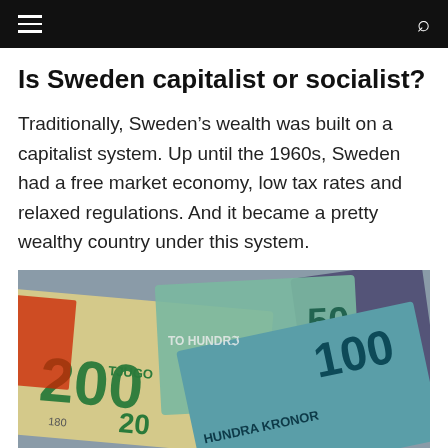Navigation bar with hamburger menu and search icon
Is Sweden capitalist or socialist?
Traditionally, Sweden’s wealth was built on a capitalist system. Up until the 1960s, Sweden had a free market economy, low tax rates and relaxed regulations. And it became a pretty wealthy country under this system.
[Figure (photo): Close-up photograph of Swedish kronor banknotes, showing 200, 100, and 20 kronor notes fanned out, with text including 'HUNDRA KRONOR', 'TJUGO', and '200' visible.]